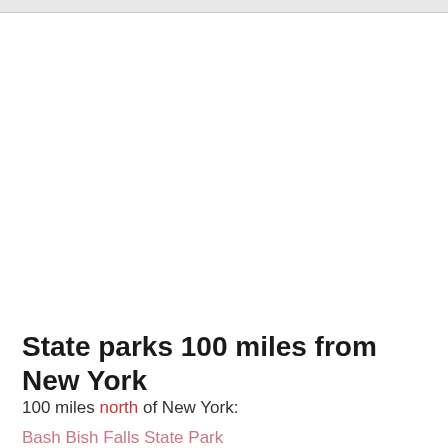State parks 100 miles from New York
100 miles north of New York:
Bash Bish Falls State Park